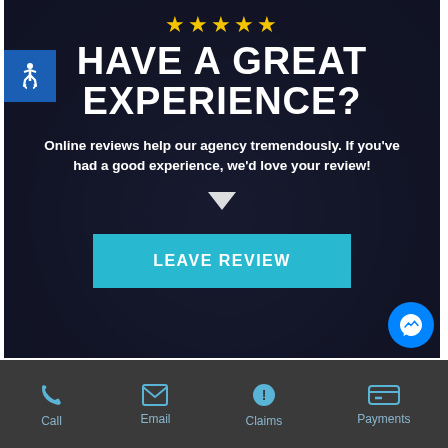[Figure (infographic): Dark hero banner with star rating, 'HAVE A GREAT EXPERIENCE?' headline, review request text, chevron arrow, and teal 'LEAVE REVIEW' button. Blue accessibility icon top-left. Facebook Messenger bubble bottom-right.]
HAVE A GREAT EXPERIENCE?
Online reviews help our agency tremendously. If you've had a good experience, we'd love your review!
LEAVE REVIEW
Call  Email  Claims  Payments